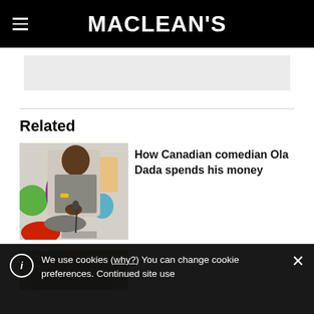MACLEAN'S
Related
[Figure (photo): Photo of Canadian comedian Ola Dada seated cross-legged with colorful background elements]
How Canadian comedian Ola Dada spends his money
[Figure (photo): Partial photo for second related article]
We use cookies (why?) You can change cookie preferences. Continued site use